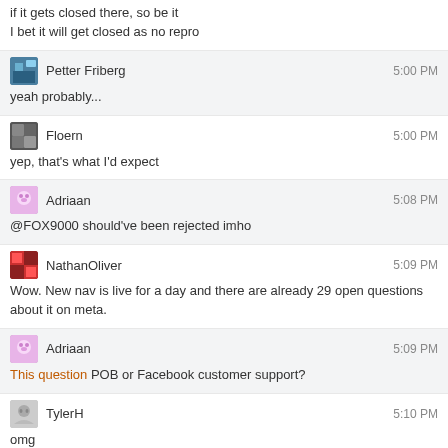if it gets closed there, so be it
I bet it will get closed as no repro
Petter Friberg 5:00 PM
yeah probably...
Floern 5:00 PM
yep, that's what I'd expect
Adriaan 5:08 PM
@FOX9000 should've been rejected imho
NathanOliver 5:09 PM
Wow. New nav is live for a day and there are already 29 open questions about it on meta.
Adriaan 5:09 PM
This question POB or Facebook customer support?
TylerH 5:10 PM
omg
the way this doctor just phrased this line in a continuing education talk...
Jan Dvorak 5:10 PM
I don't understand the question, so that's the vote I cast.
TylerH 5:11 PM
"Let's look at this even closer, to make sure that we're not killing people". Yeah Doc